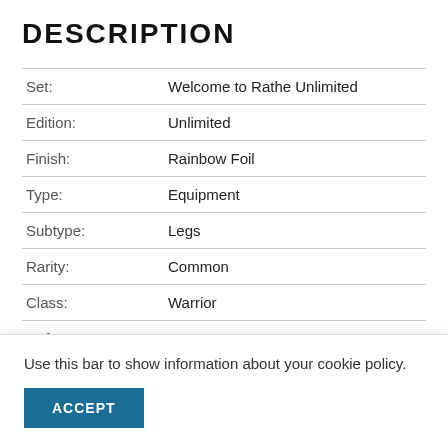DESCRIPTION
| Set: | Welcome to Rathe Unlimited |
| Edition: | Unlimited |
| Finish: | Rainbow Foil |
| Type: | Equipment |
| Subtype: | Legs |
| Rarity: | Common |
| Class: | Warrior |
| Defense: | 1 |
When a weapon you control hits, you may destroy...
Use this bar to show information about your cookie policy.